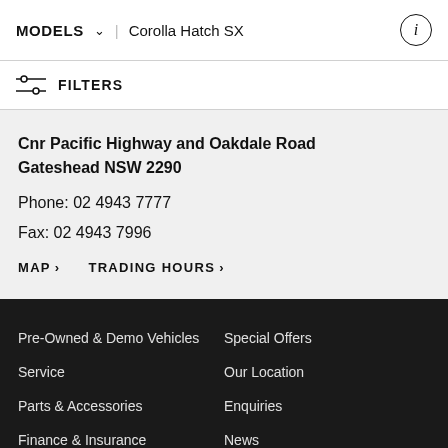MODELS  ∨  Corolla Hatch SX
FILTERS
Cnr Pacific Highway and Oakdale Road
Gateshead NSW 2290

Phone: 02 4943 7777

Fax: 02 4943 7996
MAP  TRADING HOURS
Pre-Owned & Demo Vehicles
Special Offers
Service
Our Location
Parts & Accessories
Enquiries
Finance & Insurance
News
Fleet
Terms of Use